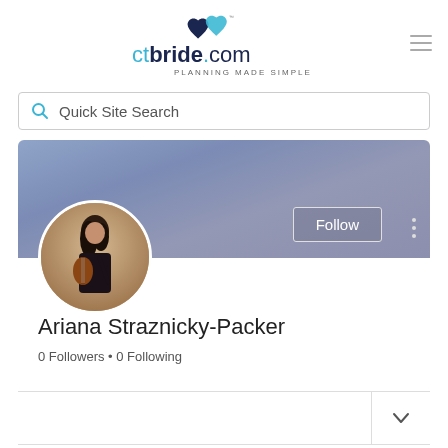[Figure (logo): ctbride.com logo with two interlocked hearts above, teal and dark navy text reading 'ctbride.com', tagline 'PLANNING MADE SIMPLE']
Quick Site Search
[Figure (photo): Profile banner with purple-blue gradient background, a 'Follow' button outlined in white, and a vertical three-dot menu icon]
[Figure (photo): Circular profile photo of a woman with dark hair playing violin, wearing black clothing]
Ariana Straznicky-Packer
0 Followers • 0 Following